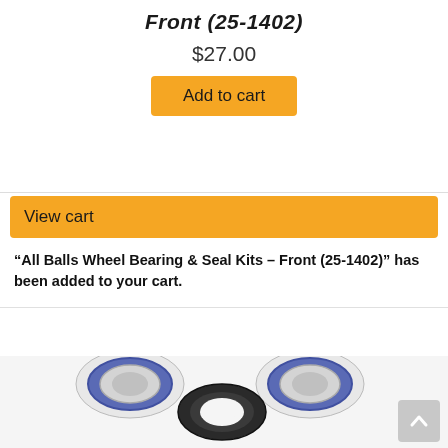Front (25-1402)
$27.00
Add to cart
View cart
“All Balls Wheel Bearing & Seal Kits – Front (25-1402)” has been added to your cart.
[Figure (photo): Four wheel bearing and seal kit components: two small bearings (top), one black rubber seal ring (center), and two larger bearings (bottom), all with blue rubber seals and silver/chrome housings, shown on a white background.]